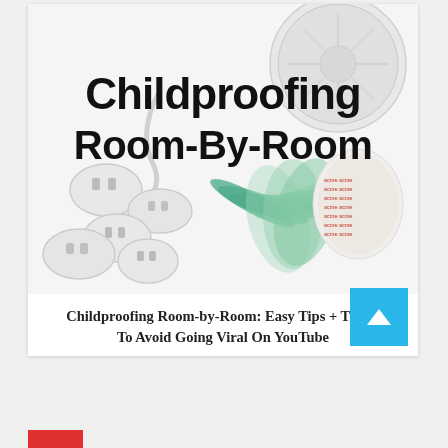[Figure (photo): Photo of childproofing safety products including outlet covers, glass corner guards, and double-sided adhesive pads, with bold text overlay reading 'Childproofing Room-By-Room']
Childproofing Room-by-Room: Easy Tips + Tricks To Avoid Going Viral On YouTube